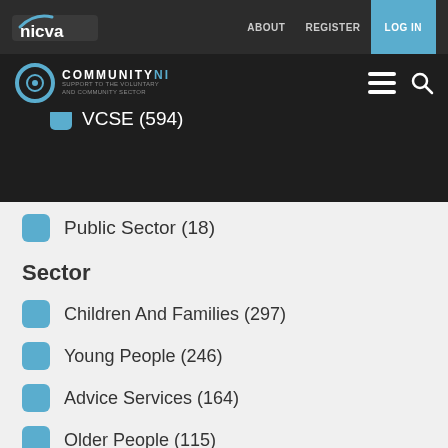nicva | ABOUT | REGISTER | LOG IN
COMMUNITYNI | menu | search
Other (30)
VCSE (594)
Public Sector (18)
Sector
Children And Families (297)
Young People (246)
Advice Services (164)
Older People (115)
Community Development (417)
Education/Training (395)
Health And Wellbeing (360)